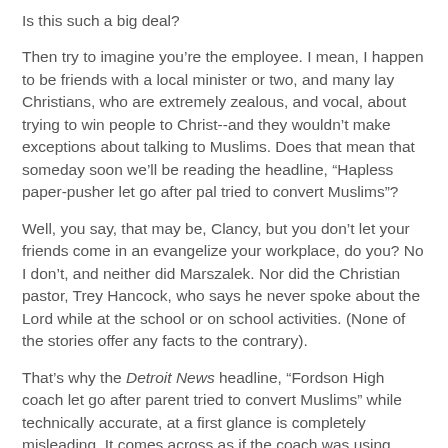Is this such a big deal?
Then try to imagine you're the employee. I mean, I happen to be friends with a local minister or two, and many lay Christians, who are extremely zealous, and vocal, about trying to win people to Christ--and they wouldn't make exceptions about talking to Muslims. Does that mean that someday soon we'll be reading the headline, “Hapless paper-pusher let go after pal tried to convert Muslims”?
Well, you say, that may be, Clancy, but you don’t let your friends come in an evangelize your workplace, do you? No I don’t, and neither did Marszalek. Nor did the Christian pastor, Trey Hancock, who says he never spoke about the Lord while at the school or on school activities. (None of the stories offer any facts to the contrary).
That’s why the Detroit News headline, “Fordson High coach let go after parent tried to convert Muslims” while technically accurate, at a first glance is completely misleading. It comes across as if the coach was using practice time to browbeat his captive wrestlers into giving up their 72 virgins in